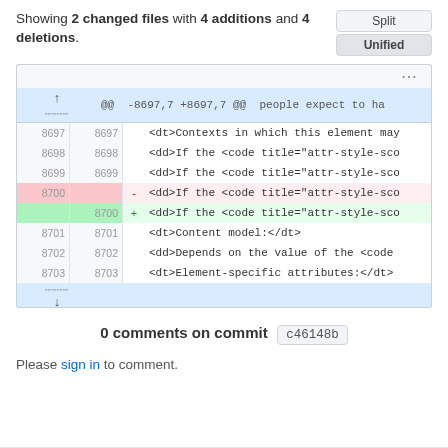Showing 2 changed files with 4 additions and 4 deletions.
[Figure (screenshot): GitHub-style unified diff view showing lines 8697-8703 of an HTML file, with line 8700 deleted (red) and added (green). Hunk header: @@ -8697,7 +8697,7 @@ people expect to ha]
0 comments on commit c46148b
Please sign in to comment.